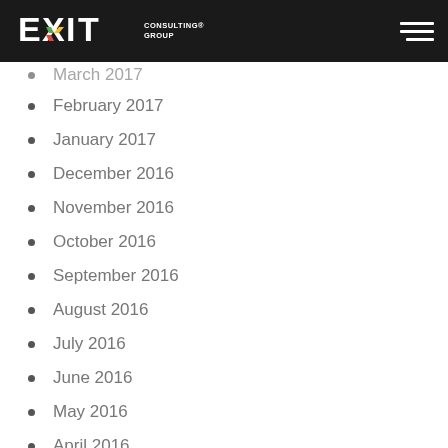EXIT Consulting Group
March 2017
February 2017
January 2017
December 2016
November 2016
October 2016
September 2016
August 2016
July 2016
June 2016
May 2016
April 2016